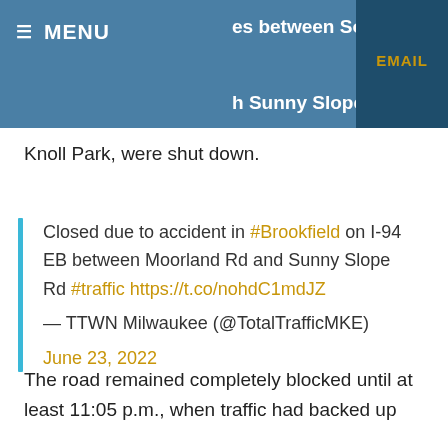es between South [EMAIL] h Sunny Slope Roa — MENU
Knoll Park, were shut down.
Closed due to accident in #Brookfield on I-94 EB between Moorland Rd and Sunny Slope Rd #traffic https://t.co/nohdC1mdJZ — TTWN Milwaukee (@TotalTrafficMKE) June 23, 2022
The road remained completely blocked until at least 11:05 p.m., when traffic had backed up